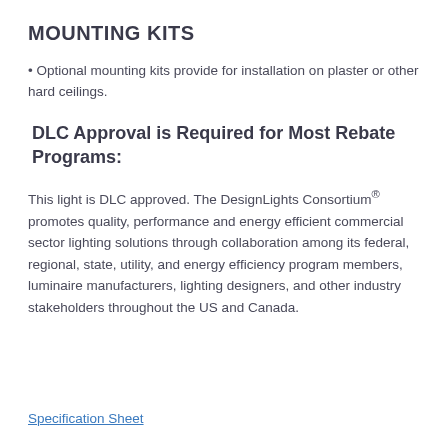MOUNTING KITS
• Optional mounting kits provide for installation on plaster or other hard ceilings.
DLC Approval is Required for Most Rebate Programs:
This light is DLC approved. The DesignLights Consortium® promotes quality, performance and energy efficient commercial sector lighting solutions through collaboration among its federal, regional, state, utility, and energy efficiency program members, luminaire manufacturers, lighting designers, and other industry stakeholders throughout the US and Canada.
Specification Sheet